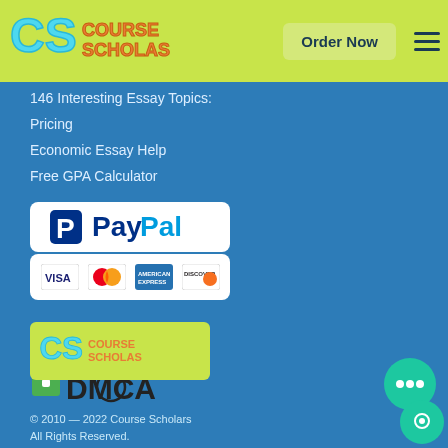[Figure (logo): Course Scholars logo with CS letters and nav buttons in green header]
146 Interesting Essay Topics:
Pricing
Economic Essay Help
Free GPA Calculator
[Figure (logo): PayPal logo white box]
[Figure (logo): Payment cards: VISA, Mastercard, American Express, Discover]
[Figure (logo): DMCA Protected badge with lock icon]
[Figure (logo): Course Scholars footer logo on yellow-green background]
© 2010 — 2022 Course Scholars
All Rights Reserved.